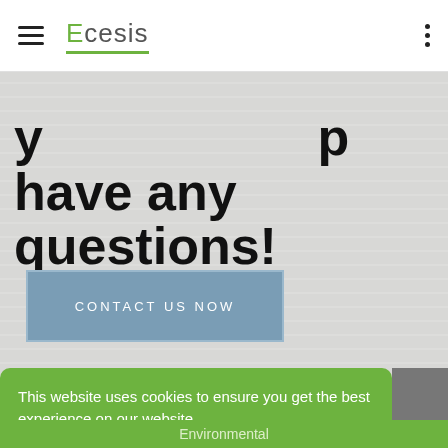Ecesis
have any questions!
CONTACT US NOW
This website uses cookies to ensure you get the best experience on our website.
Learn more
Got it!
Environmental